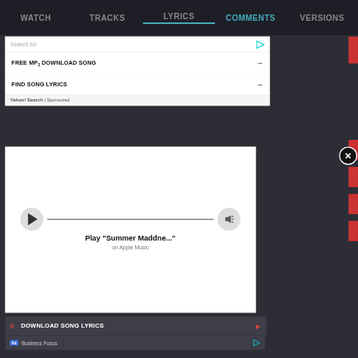WATCH   TRACKS   LYRICS   COMMENTS   VERSIONS
[Figure (screenshot): Yahoo Search sponsored ad panel with 'Search for' input, two links: 'FREE MP3 DOWNLOAD SONG' and 'FIND SONG LYRICS', and a Yahoo! Search | Sponsored footer]
[Figure (screenshot): Apple Music play widget showing Play 'Summer Maddne...' on Apple Music with play button, progress line, and volume button]
6   DOWNLOAD SONG LYRICS
Ad | Business Focus